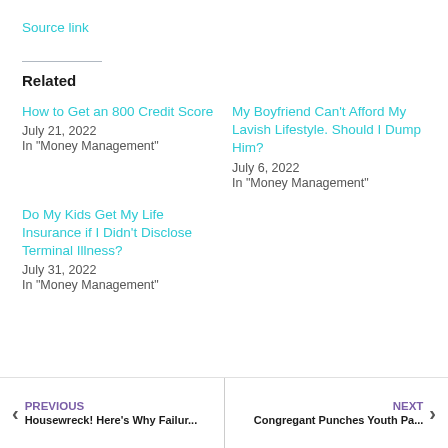Source link
Related
How to Get an 800 Credit Score
July 21, 2022
In "Money Management"
My Boyfriend Can’t Afford My Lavish Lifestyle. Should I Dump Him?
July 6, 2022
In "Money Management"
Do My Kids Get My Life Insurance if I Didn’t Disclose Terminal Illness?
July 31, 2022
In "Money Management"
PREVIOUS Housewreck! Here’s Why Failur... | NEXT Congregant Punches Youth Pa...